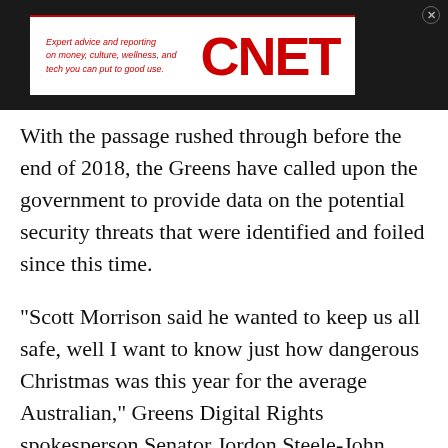[Figure (logo): CNET advertisement banner with red tagline text and bold red CNET logo on white background, set within a dark/black bar]
With the passage rushed through before the end of 2018, the Greens have called upon the government to provide data on the potential security threats that were identified and foiled since this time.
"Scott Morrison said he wanted to keep us all safe, well I want to know just how dangerous Christmas was this year for the average Australian," Greens Digital Rights spokesperson Senator Jordon Steele-John said.
"Either we've seen an unprecedented spike in suspicious activity over Christmas and New Year --